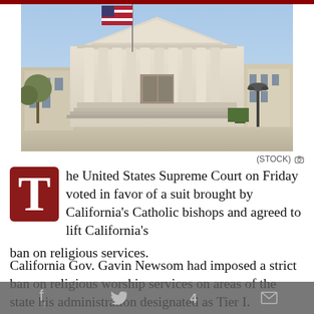[Figure (photo): Exterior photograph of the United States Supreme Court building, with American flag flying on a flagpole in front of the white marble neoclassical building under a blue sky.]
(STOCK)
he United States Supreme Court on Friday voted in favor of a suit brought by California's Catholic bishops and agreed to lift California's ban on religious services.
California Gov. Gavin Newsom had imposed a strict ban on religious worship services on areas of the state his administration designated as Tier I. California's restrictions prevented any indoor religious services in